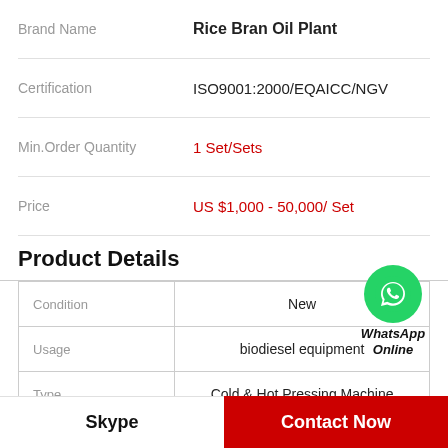| Field | Value |
| --- | --- |
| Brand Name | Rice Bran Oil Plant |
| Certification | ISO9001:2000/EQAICC/NGV |
| Min.Order Quantity | 1 Set/Sets |
| Price | US $1,000 - 50,000/ Set |
Product Details
| Field | Value |
| --- | --- |
| Condition | New |
| Usage | biodiesel equipment |
| Type | Cold & Hot Pressing Machine |
| Automatic Grade | Automatic |
WhatsApp Online
Skype
Contact Now